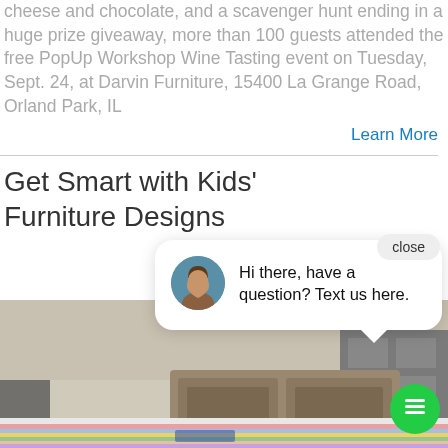cheese and chocolate, and a scavenger hunt ending in a huge prize giveaway, more than 100 guests attended the free PopUp Workshop Wine Tasting event on Tuesday, Sept. 24, at Darvin Furniture, 15400 La Grange Road, Orland Park, IL
Learn More
Get Smart with Kids' Furniture Designs
[Figure (screenshot): Chat popup with avatar of a woman and text: Hi there, have a question? Text us here.]
[Figure (photo): Photo of a children's bedroom with a wooden headboard and colorful striped rug]